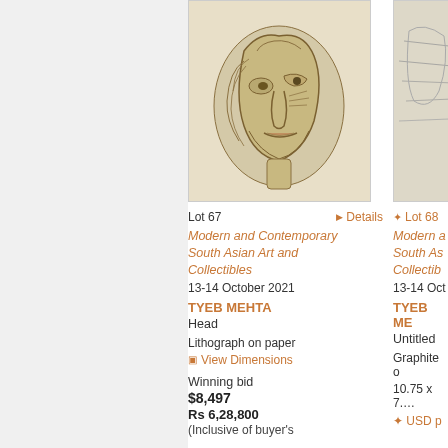[Figure (illustration): Artwork image for Lot 67 – Tyeb Mehta, Head, lithograph on paper showing a cubist-style face in brown tones on beige background]
[Figure (illustration): Partial artwork image for Lot 68 – Tyeb Mehta, Untitled, graphite on paper, partially visible]
Lot 67
Details
Lot 68
Modern and Contemporary South Asian Art and Collectibles
13-14 October 2021
TYEB MEHTA
Head
Lithograph on paper
View Dimensions
Modern and Contemporary South Asian Art and Collectibles
13-14 October 2021
TYEB MEHTA
Untitled
Graphite on paper
10.75 x 7.…
Winning bid
$8,497
Rs 6,28,800
(Inclusive of buyer's
USD p…